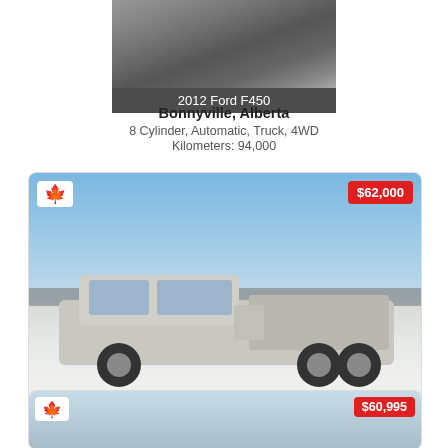[Figure (photo): Partial photo of 2012 Ford F450 truck, cropped at top of page]
2012 Ford F450
Bonnyville, Alberta
8 Cylinder, Automatic, Truck, 4WD
Kilometers: 94,000
[Figure (photo): Photo of silver 2013 GMC Sierra 3500 dually truck parked on snow-covered ground, clear blue sky. Canadian flag badge top-left, price $62,000 top-right.]
2013 GMC Sierra 3500
Edson, Alberta
8 Cylinder, Automatic, Truck, 4WD
Kilometers: 44,500
[Figure (photo): Partial photo of third vehicle listing, showing sky and top of truck. Canadian flag badge top-left, price $60,995 top-right.]